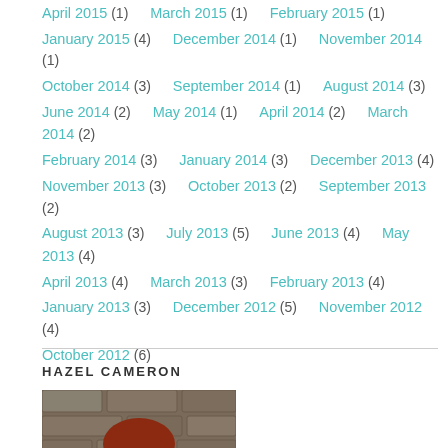April 2015 (1)   March 2015 (1)   February 2015 (1)
January 2015 (4)   December 2014 (1)   November 2014 (1)
October 2014 (3)   September 2014 (1)   August 2014 (3)
June 2014 (2)   May 2014 (1)   April 2014 (2)   March 2014 (2)
February 2014 (3)   January 2014 (3)   December 2013 (4)
November 2013 (3)   October 2013 (2)   September 2013 (2)
August 2013 (3)   July 2013 (5)   June 2013 (4)   May 2013 (4)
April 2013 (4)   March 2013 (3)   February 2013 (4)
January 2013 (3)   December 2012 (5)   November 2012 (4)
October 2012 (6)
HAZEL CAMERON
[Figure (photo): Portrait photo of Hazel Cameron, a woman with reddish-brown hair and bangs, wearing a green top, with a stone wall background]